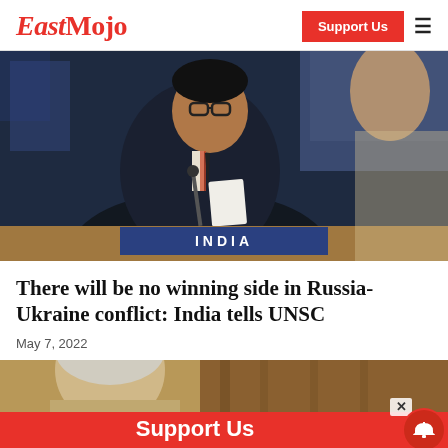EastMojo
[Figure (photo): Indian diplomat in suit speaking at UN Security Council, with INDIA nameplate visible at podium]
There will be no winning side in Russia-Ukraine conflict: India tells UNSC
May 7, 2022
[Figure (photo): Partial photo of a person, cropped at bottom of page]
Support Us